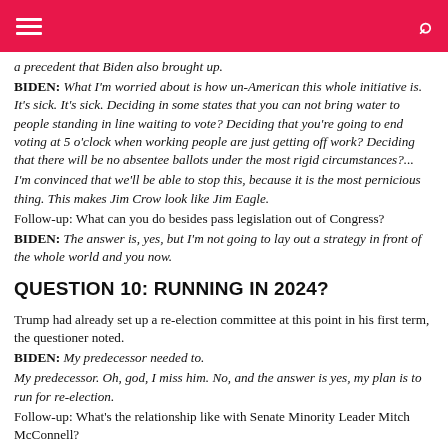Navigation header bar with menu and search icons
a precedent that Biden also brought up.
BIDEN: What I'm worried about is how un-American this whole initiative is. It's sick. It's sick. Deciding in some states that you can not bring water to people standing in line waiting to vote? Deciding that you're going to end voting at 5 o'clock when working people are just getting off work? Deciding that there will be no absentee ballots under the most rigid circumstances?...
I'm convinced that we'll be able to stop this, because it is the most pernicious thing. This makes Jim Crow look like Jim Eagle.
Follow-up: What can you do besides pass legislation out of Congress?
BIDEN: The answer is, yes, but I'm not going to lay out a strategy in front of the whole world and you now.
QUESTION 10: RUNNING IN 2024?
Trump had already set up a re-election committee at this point in his first term, the questioner noted.
BIDEN: My predecessor needed to.
My predecessor. Oh, god, I miss him. No, and the answer is yes, my plan is to run for re-election.
Follow-up: What's the relationship like with Senate Minority Leader Mitch McConnell?
BIDEN: I would like Republican — elected Republican support, but what I know I have now is I have electoral support from Republican voters. Republican voters agree with what I'm doing.